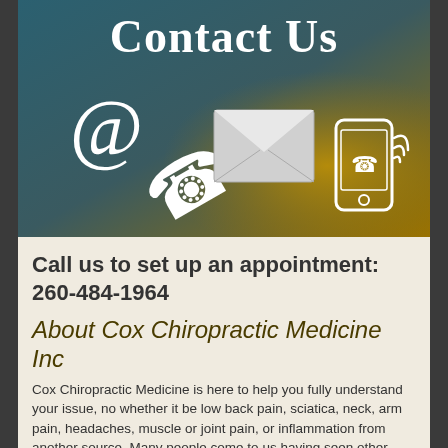[Figure (illustration): Contact Us banner image with teal-to-gold gradient background showing @ symbol, phone handset, envelope, and mobile phone with wifi signal icons, with 'Contact Us' text in white at top]
Call us to set up an appointment: 260-484-1964
About Cox Chiropractic Medicine Inc
Cox Chiropractic Medicine is here to help you fully understand your issue, no whether it be low back pain, sciatica, neck, arm pain, headaches, muscle or joint pain, or inflammation from another source. Many people come to us having seen other providers, and have had prescriptions for therapy, medications, and exercises, without fully understanding what the problem is